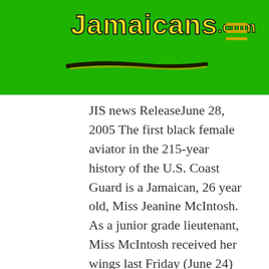[Figure (logo): Jamaicans.com website logo on green header bar with yellow handwritten-style text and hamburger menu icon]
JIS news ReleaseJune 28, 2005 The first black female aviator in the 215-year history of the U.S. Coast Guard is a Jamaican, 26 year old, Miss Jeanine McIntosh. As a junior grade lieutenant, Miss McIntosh received her wings last Friday (June 24) at...
[Figure (screenshot): Advertisement area with a gray background and D indicator in blue]
[Figure (screenshot): Bottom advertisement banner: HC salon icon, text 'View store hours, get directions, or call your salon!' with blue diamond arrow icon]